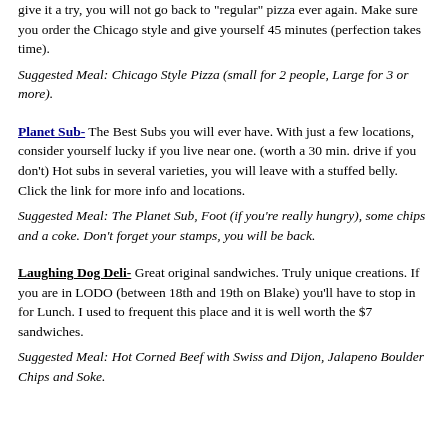give it a try, you will not go back to "regular" pizza ever again. Make sure you order the Chicago style and give yourself 45 minutes (perfection takes time).
Suggested Meal:  Chicago Style Pizza (small for 2 people, Large for 3 or more).
Planet Sub- The Best Subs you will ever have.  With just a few locations, consider yourself lucky if you live near one.  (worth a 30 min. drive if you don't)  Hot subs in several varieties, you will leave with a stuffed belly. Click the link for more info and locations.
Suggested Meal:  The Planet Sub, Foot (if you're really hungry), some chips and a coke.  Don't forget your stamps, you will be back.
Laughing Dog Deli- Great original sandwiches.  Truly unique creations. If you are in LODO (between 18th and 19th on Blake) you'll have to stop in for Lunch.  I used to frequent this place and it is well worth the $7 sandwiches.
Suggested Meal:  Hot Corned Beef with Swiss and Dijon, Jalapeno Boulder Chips and Soke.